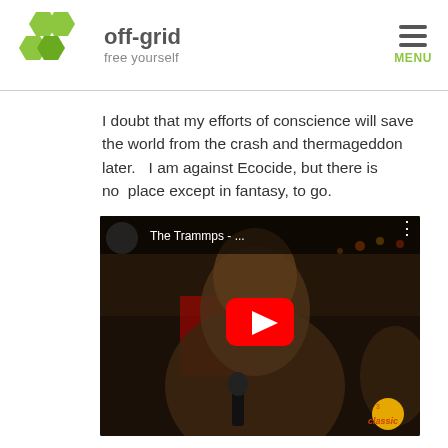[Figure (logo): off-grid free yourself logo with green hexagons and grey text]
I doubt that my efforts of conscience will save the world from the crash and thermageddon later.   I am against Ecocide, but there is no  place except in fantasy, to go.
[Figure (screenshot): YouTube video embed showing The Trammps music video with a red play button, classic TV logo in corner]